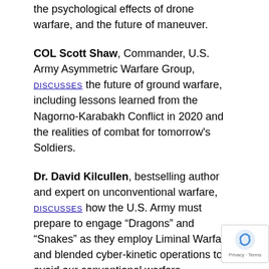the psychological effects of drone warfare, and the future of maneuver.
COL Scott Shaw, Commander, U.S. Army Asymmetric Warfare Group, discusses the future of ground warfare, including lessons learned from the Nagorno-Karabakh Conflict in 2020 and the realities of combat for tomorrow's Soldiers.
Dr. David Kilcullen, bestselling author and expert on unconventional warfare, discusses how the U.S. Army must prepare to engage “Dragons” and “Snakes” as they employ Liminal Warfare and blended cyber-kinetic operations to avoid our conventional warfare dominance.
Mr. Doowan Lee, CEO and co-founder of VAST-OS, discusses disinformation, changes over time in approaches to information warfare, and collaboration